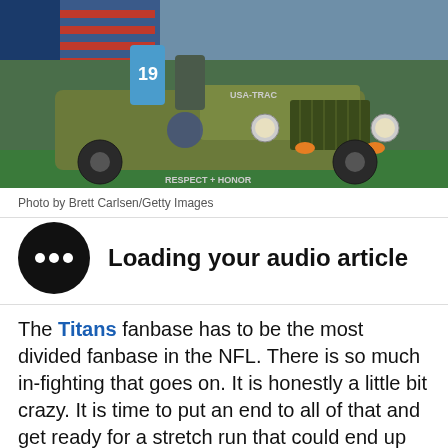[Figure (photo): NFL Titans players riding a military-style jeep on a football field with an American flag mural in the background. Player wearing jersey number 19 visible. Jeep has USA-TRAC markings and RESPECT + HONOR text.]
Photo by Brett Carlsen/Getty Images
[Figure (infographic): Audio article loading indicator: black circle with three white dots (ellipsis/loading animation)]
Loading your audio article
The Titans fanbase has to be the most divided fanbase in the NFL. There is so much in-fighting that goes on. It is honestly a little bit crazy. It is time to put an end to all of that and get ready for a stretch run that could end up being really fun.